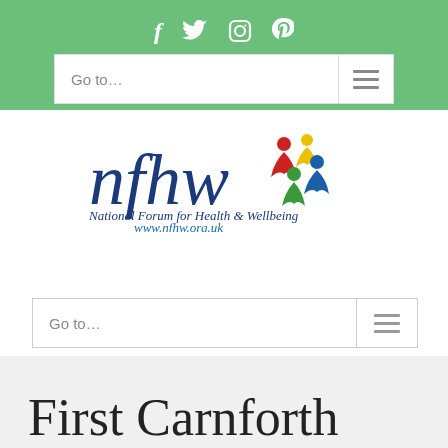Social media icons: f (Facebook), Twitter, Instagram, Pinterest
[Figure (screenshot): Navigation bar with 'Go to...' text and hamburger menu icon on green background]
[Figure (logo): NFHW logo - National Forum for Health & Wellbeing, www.nfhw.org.uk, with colorful figure icons]
[Figure (screenshot): Navigation bar with 'Go to...' text and hamburger menu icon on white background]
First Carnforth